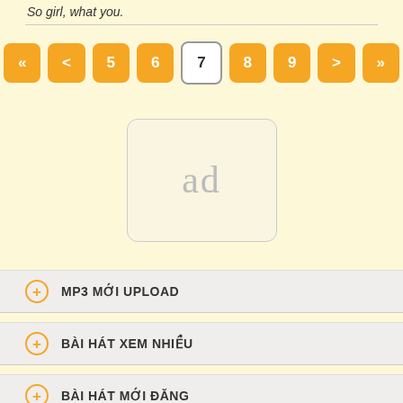So girl, what you.
[Figure (other): Pagination bar with navigation buttons: «, <, 5, 6, 7 (active/current), 8, 9, >, »]
[Figure (other): Advertisement placeholder box with text 'ad']
MP3 MỚI UPLOAD
BÀI HÁT XEM NHIỀU
BÀI HÁT MỚI ĐĂNG